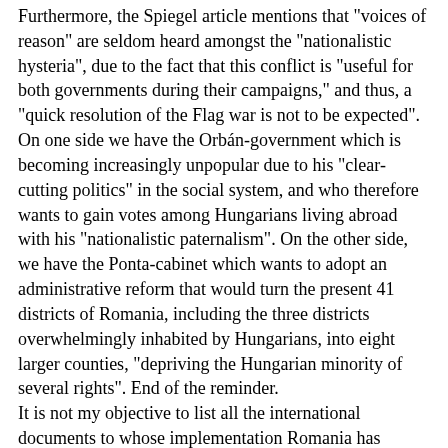Furthermore, the Spiegel article mentions that "voices of reason" are seldom heard amongst the "nationalistic hysteria", due to the fact that this conflict is "useful for both governments during their campaigns," and thus, a "quick resolution of the Flag war is not to be expected". On one side we have the Orbán-government which is becoming increasingly unpopular due to his "clear- cutting politics" in the social system, and who therefore wants to gain votes among Hungarians living abroad with his "nationalistic paternalism". On the other side, we have the Ponta-cabinet which wants to adopt an administrative reform that would turn the present 41 districts of Romania, including the three districts overwhelmingly inhabited by Hungarians, into eight larger counties, "depriving the Hungarian minority of several rights". End of the reminder. It is not my objective to list all the international documents to whose implementation Romania has unsuccessfully committed herself. The infringement of rights was not contested by the Spiegel article, as it would have been difficult. I will, however, list (without demand to perfection) similar precedents from previous years. It was in December